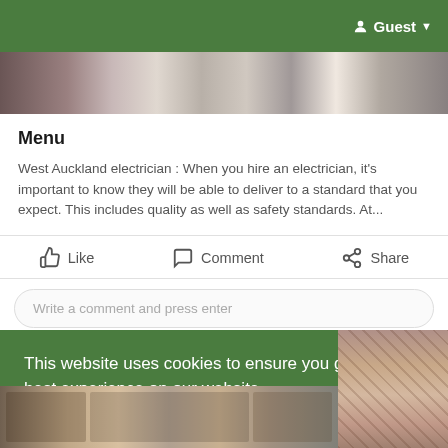Guest
[Figure (photo): Horizontal photo strip at top of page]
Menu
West Auckland electrician : When you hire an electrician, it's important to know they will be able to deliver to a standard that you expect. This includes quality as well as safety standards. At...
Like   Comment   Share
Write a comment and press enter
This website uses cookies to ensure you get the best experience on our website.
Learn More
Got It!
[Figure (photo): Bottom photo strip showing electrical equipment]